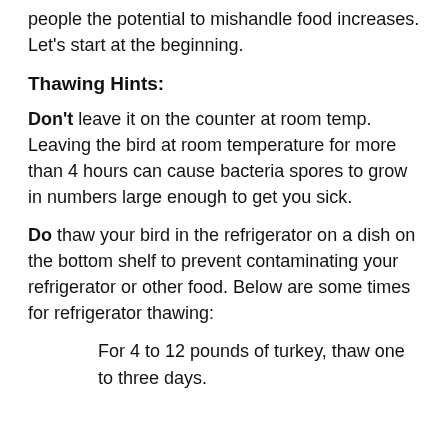people the potential to mishandle food increases. Let's start at the beginning.
Thawing Hints:
Don't leave it on the counter at room temp. Leaving the bird at room temperature for more than 4 hours can cause bacteria spores to grow in numbers large enough to get you sick.
Do thaw your bird in the refrigerator on a dish on the bottom shelf to prevent contaminating your refrigerator or other food. Below are some times for refrigerator thawing:
For 4 to 12 pounds of turkey, thaw one to three days.